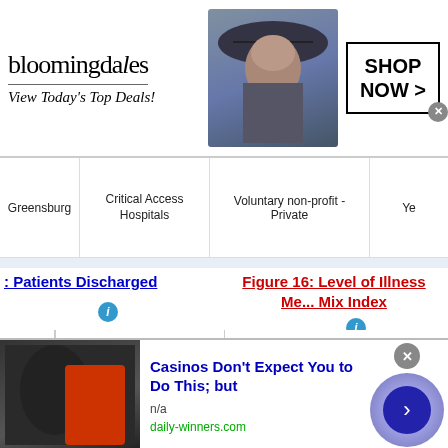[Figure (other): Bloomingdales advertisement banner with logo, woman in hat, 'View Today's Top Deals!' tagline, and SHOP NOW button]
|  | Critical Access Hospitals | Voluntary non-profit - Private | Ye |
| --- | --- | --- | --- |
| Greensburg | Critical Access Hospitals | Voluntary non-profit - Private | Ye |
: Patients Discharged
Figure 16: Level of Illness Me... Mix Index
[Figure (bar-chart): Horizontal bar chart showing patients discharged - left side, partial view with Medical Center bar]
[Figure (bar-chart): Horizontal bar chart - Level of Illness Mix Index, showing Monroe County Medical Center and Taylor Regional Hospital bars]
[Figure (other): Advertisement: Casinos Don't Expect You to Do This; but - daily-winners.com]